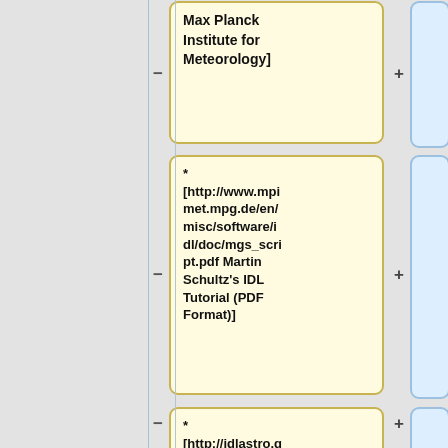Max Planck Institute for Meteorology]
* [http://www.mpimet.mpg.de/en/misc/software/idl/doc/mgs_script.pdf Martin Schultz's IDL Tutorial (PDF Format)]
* [http://idlastro.gsfc.nasa.gov/homepage.html IDL Astronomy User's Library]
* [http://fermi.jhuapl.edu/s1r/idl/i